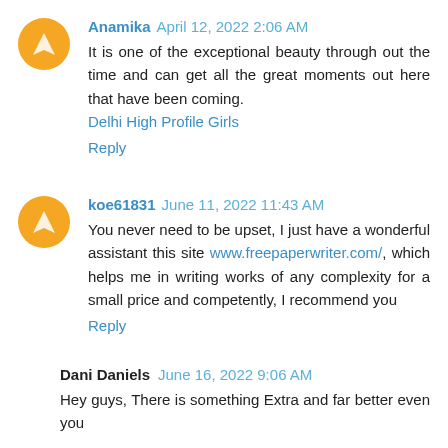Anamika April 12, 2022 2:06 AM
It is one of the exceptional beauty through out the time and can get all the great moments out here that have been coming.
Delhi High Profile Girls
Reply
koe61831 June 11, 2022 11:43 AM
You never need to be upset, I just have a wonderful assistant this site www.freepaperwriter.com/, which helps me in writing works of any complexity for a small price and competently, I recommend you
Reply
Dani Daniels June 16, 2022 9:06 AM
Hey guys, There is something Extra and far better even you